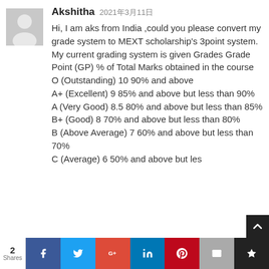[Figure (illustration): Gray placeholder avatar silhouette (person icon)]
Akshitha 2021年3月11日
Hi, I am aks from India ,could you please convert my grade system to MEXT scholarship's 3point system. My current grading system is given Grades Grade Point (GP) % of Total Marks obtained in the course O (Outstanding) 10 90% and above A+ (Excellent) 9 85% and above but less than 90% A (Very Good) 8.5 80% and above but less than 85% B+ (Good) 8 70% and above but less than 80% B (Above Average) 7 60% and above but less than 70% C (Average) 6 50% and above but les
2 Shares | Facebook | Twitter | Google+ | LinkedIn | Pinterest | Email | Bookmark